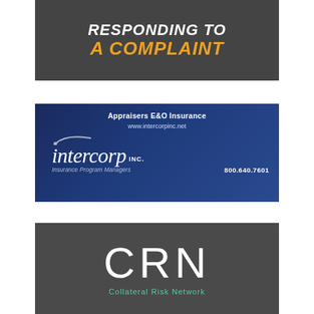[Figure (illustration): Dark gray banner with bold white italic text 'RESPONDING TO' and bold orange italic text 'A COMPLAINT' with an orange stripe at the bottom]
[Figure (illustration): Dark navy blue advertisement for Intercorp Inc., Insurance Program Managers, showing 'Appraisers E&O Insurance', website www.intercorpinc.net, Intercorp Inc. logo with swoosh, tagline 'Insurance Program Managers' and phone '800.640.7601']
[Figure (illustration): Dark gray advertisement for CRN - Collateral Risk Network, showing large white 'CRN' letters and teal 'Collateral Risk Network' text below]